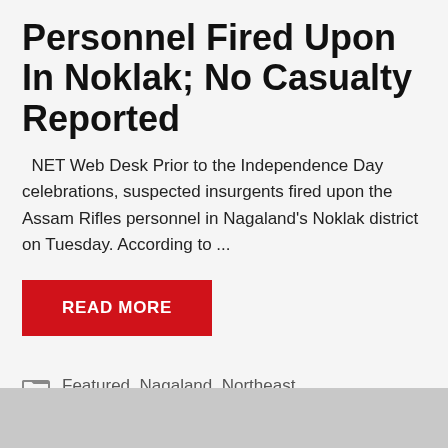Personnel Fired Upon In Noklak; No Casualty Reported
NET Web Desk Prior to the Independence Day celebrations, suspected insurgents fired upon the Assam Rifles personnel in Nagaland's Noklak district on Tuesday. According to ...
READ MORE
Featured, Nagaland, Northeast
ANI, Assam Rifles, Deadly Ambush, Nagaland, Noklak